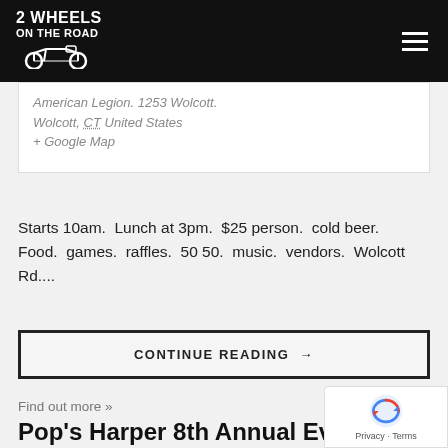2 WHEELS ON THE ROAD
American Legion. 1253 Wolcott. Wolcott, CT United States + Google Map
Starts 10am.  Lunch at 3pm.  $25 person.  cold beer.  Food.  games.  raffles.  50 50.  music.  vendors.  Wolcott Rd....
CONTINUE READING →
Find out more »
Pop's Harper 8th Annual Event and 6th Annual Bike Show
May 22